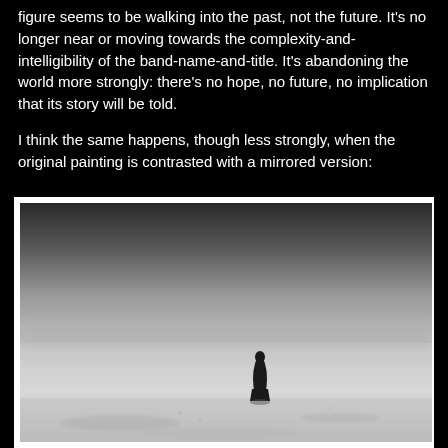figure seems to be walking into the past, not the future. It's no longer near or moving towards the complexity-and-intelligibility of the band-name-and-title. It's abandoning the world more strongly: there's no hope, no future, no implication that its story will be told.
I think the same happens, though less strongly, when the original painting is contrasted with a mirrored version:
[Figure (photo): Black and white photograph showing a solitary dark-robed figure standing in a vast, misty, foggy landscape. The figure is positioned slightly right of center in the lower portion of the image. The scene is atmospheric and desolate, with a hazy sky blending into flat ground. The photo has a white border/frame.]